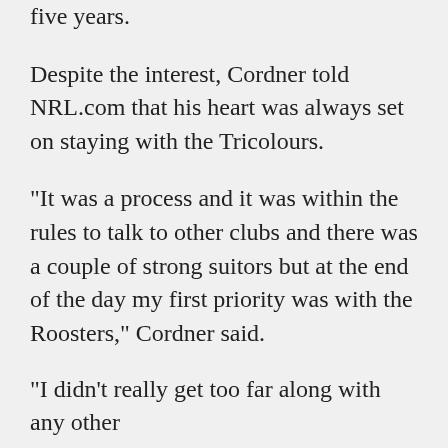five years.
Despite the interest, Cordner told NRL.com that his heart was always set on staying with the Tricolours.
"It was a process and it was within the rules to talk to other clubs and there was a couple of strong suitors but at the end of the day my first priority was with the Roosters," Cordner said.
"I didn't really get too far along with any other